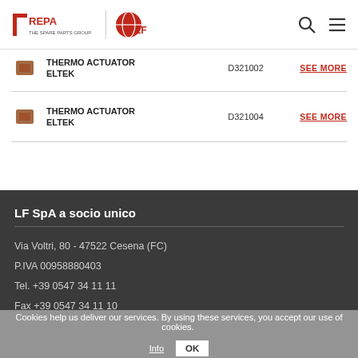REPA - The Spare Parts Group / LF
THERMO ACTUATOR ELTEK  D321002  SEE MORE
THERMO ACTUATOR ELTEK  D321004  SEE MORE
LF SpA a socio unico
Via Voltri, 80 - 47522 Cesena (FC)
P.IVA 00958880403
Tel. +39 0547 34 11 11
Fax +39 0547 34 11 10
Cookies help us deliver our services. By using these services, you accept our use of cookies.  Info  OK